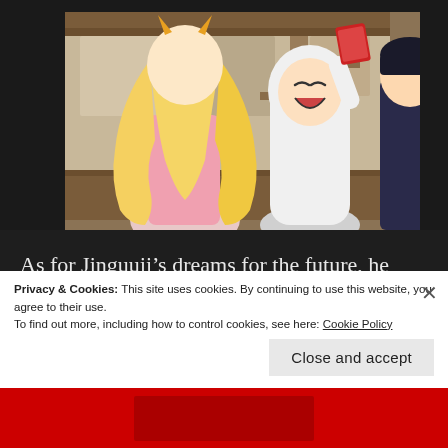[Figure (illustration): Anime screenshot showing three characters: a blonde female character viewed from behind with long flowing hair and horn-like accessories, a cheerful character in a white ghost/bunny costume raising one arm, and a dark-haired male character on the right. Background shows a traditional Japanese-style building interior.]
As for Jinguuji’s dreams for the future, he doesn’t let Tachibana read that part, scribbling over it with permanent marker. This results in a spat between the two, with Tachibana huffing as she walks ahead of him
Privacy & Cookies: This site uses cookies. By continuing to use this website, you agree to their use.
To find out more, including how to control cookies, see here: Cookie Policy
Close and accept